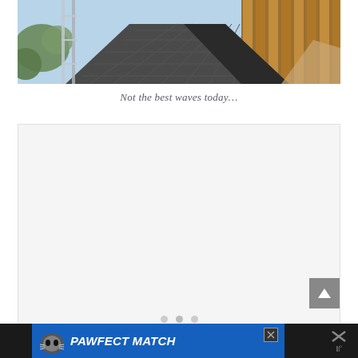[Figure (photo): Outdoor walkway or bridge with wooden vertical slats/railing on the right side, metal railing on the left, dark paved floor with tile pattern, and greenery visible on the left. Perspective view looking down the walkway.]
Not the best waves today…
[Figure (other): Embedded content/slider area with light gray background, pagination dots at bottom, and a scroll-to-top button.]
[Figure (other): Advertisement banner: PAWFECT MATCH with cat graphic, close button, and additional icon on the right side.]